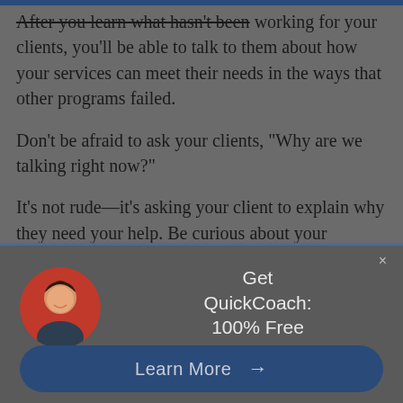After you learn what hasn't been working for your clients, you'll be able to talk to them about how your services can meet their needs in the ways that other programs failed.
Don't be afraid to ask your clients, "Why are we talking right now?"
It's not rude—it's asking your client to explain why they need your help. Be curious about your potential clients, just as you would be with a client who has already committed to training with you.
[Figure (infographic): Advertisement banner with avatar photo of a man, text reading 'Get QuickCoach: 100% Free coaching software.' and a 'Learn More' button]